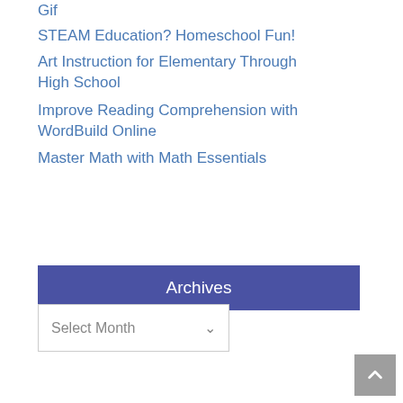Gif
STEAM Education? Homeschool Fun!
Art Instruction for Elementary Through High School
Improve Reading Comprehension with WordBuild Online
Master Math with Math Essentials
Archives
Select Month